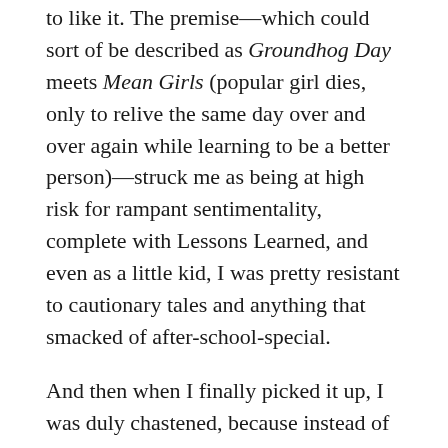to like it. The premise—which could sort of be described as Groundhog Day meets Mean Girls (popular girl dies, only to relive the same day over and over again while learning to be a better person)—struck me as being at high risk for rampant sentimentality, complete with Lessons Learned, and even as a little kid, I was pretty resistant to cautionary tales and anything that smacked of after-school-special.
And then when I finally picked it up, I was duly chastened, because instead of being not my thing at all, it turned out to be exactly my thing.
For those who haven't read it, Before I Fall is kind of a strange beast. Oliver combines a bunch of elements I really like, but don't often see happily